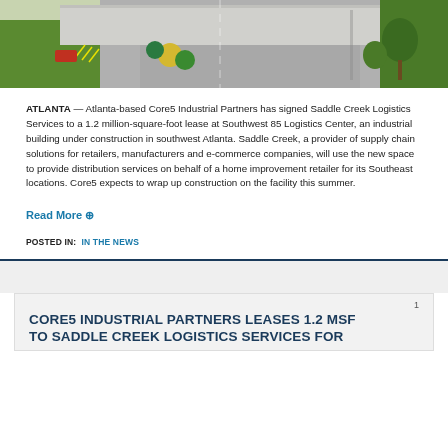[Figure (photo): Aerial rendering of Southwest 85 Logistics Center industrial building with parking lot, landscaping, and road access in southwest Atlanta.]
ATLANTA — Atlanta-based Core5 Industrial Partners has signed Saddle Creek Logistics Services to a 1.2 million-square-foot lease at Southwest 85 Logistics Center, an industrial building under construction in southwest Atlanta. Saddle Creek, a provider of supply chain solutions for retailers, manufacturers and e-commerce companies, will use the new space to provide distribution services on behalf of a home improvement retailer for its Southeast locations. Core5 expects to wrap up construction on the facility this summer.
Read More ⊕
POSTED IN:  IN THE NEWS
CORE5 INDUSTRIAL PARTNERS LEASES 1.2 MSF TO SADDLE CREEK LOGISTICS SERVICES FOR